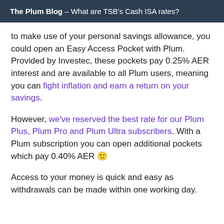The Plum Blog – What are TSB's Cash ISA rates?
to make use of your personal savings allowance, you could open an Easy Access Pocket with Plum. Provided by Investec, these pockets pay 0.25% AER interest and are available to all Plum users, meaning you can fight inflation and earn a return on your savings.
However, we've reserved the best rate for our Plum Plus, Plum Pro and Plum Ultra subscribers. With a Plum subscription you can open additional pockets which pay 0.40% AER 🙂
Access to your money is quick and easy as withdrawals can be made within one working day.